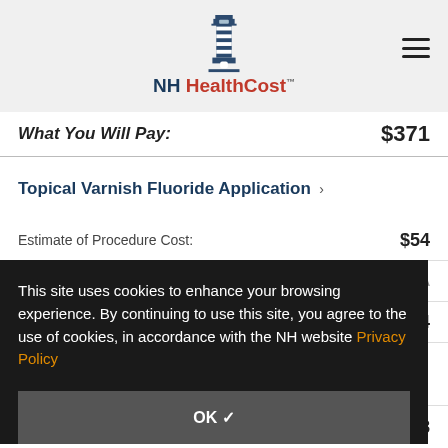NH HealthCost
What You Will Pay: $371
Topical Varnish Fluoride Application
|  |  |
| --- | --- |
| Estimate of Procedure Cost: | $54 |
|  | N/A |
|  | $54 |
This site uses cookies to enhance your browsing experience. By continuing to use this site, you agree to the use of cookies, in accordance with the NH website Privacy Policy
OK ✓
|  |  |
| --- | --- |
| Estimate of Procedure Cost: | $58 |